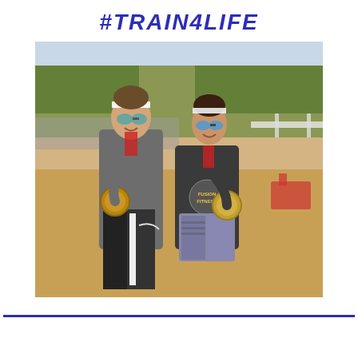#TRAIN4LIFE
[Figure (photo): Two women standing outdoors on a dirt field, both wearing sunglasses and athletic gear, holding up race medals. The woman on the left wears a gray top and black pants; the woman on the right wears a Fusion Fitness tank top and patterned shorts. Trees and a crowd are visible in the background.]